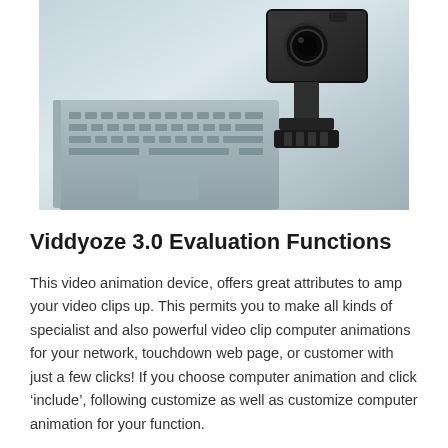[Figure (photo): Photo showing a laptop with keyboard visible and an action camera (GoPro-style) on a mount, both on a light background]
Viddyoze 3.0 Evaluation Functions
This video animation device, offers great attributes to amp your video clips up. This permits you to make all kinds of specialist and also powerful video clip computer animations for your network, touchdown web page, or customer with just a few clicks! If you choose computer animation and click ‘include’, following customize as well as customize computer animation for your function.